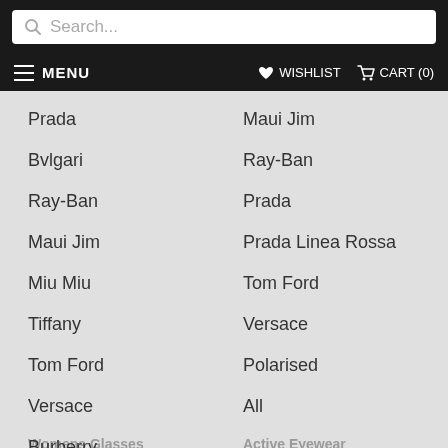Search...
MENU  WISHLIST  CART (0)
Prada
Bvlgari
Ray-Ban
Maui Jim
Miu Miu
Tiffany
Tom Ford
Versace
Burberry
Polarised
All
Maui Jim
Ray-Ban
Prada
Prada Linea Rossa
Tom Ford
Versace
Polarised
All
Womens Glasses
Active Eyewear